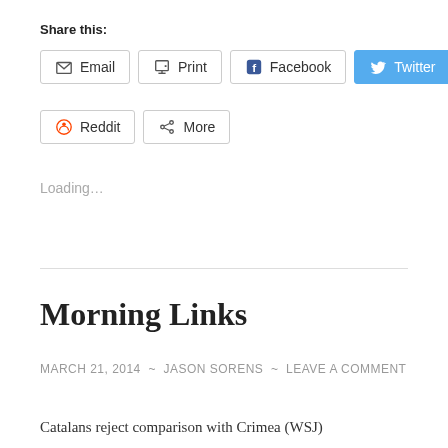Share this:
Email   Print   Facebook   Twitter   Reddit   More
Loading...
Morning Links
MARCH 21, 2014 ~ JASON SORENS ~ LEAVE A COMMENT
Catalans reject comparison with Crimea (WSJ)